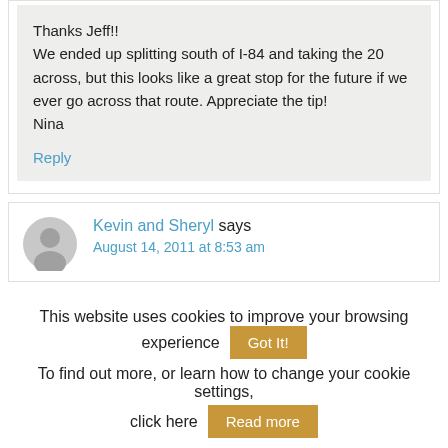Thanks Jeff!!
We ended up splitting south of I-84 and taking the 20 across, but this looks like a great stop for the future if we ever go across that route. Appreciate the tip!
Nina
Reply
Kevin and Sheryl says
August 14, 2011 at 8:53 am
This website uses cookies to improve your browsing experience
Got It!
To find out more, or learn how to change your cookie settings, click here
Read more